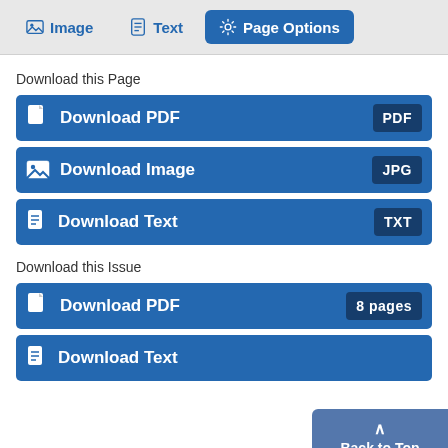Image  Text  Page Options
Download this Page
Download PDF  PDF
Download Image  JPG
Download Text  TXT
Download this Issue
Download PDF  8 pages
Download Text
Back to Top